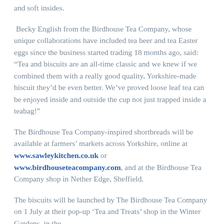and soft insides.
Becky English from the Birdhouse Tea Company, whose unique collaborations have included tea beer and tea Easter eggs since the business started trading 18 months ago, said: “Tea and biscuits are an all-time classic and we knew if we combined them with a really good quality, Yorkshire-made biscuit they’d be even better. We’ve proved loose leaf tea can be enjoyed inside and outside the cup not just trapped inside a teabag!”
The Birdhouse Tea Company-inspired shortbreads will be available at farmers’ markets across Yorkshire, online at www.sawleykitchen.co.uk or www.birdhouseteacompany.com, and at the Birdhouse Tea Company shop in Nether Edge, Sheffield.
The biscuits will be launched by The Birdhouse Tea Company on 1 July at their pop-up ‘Tea and Treats’ shop in the Winter Gardens, in the